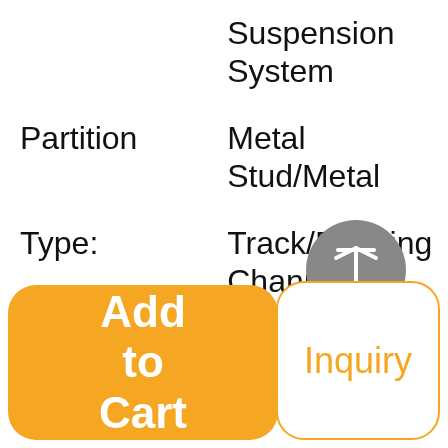|  | Suspension System |
| Partition | Metal Stud/Metal |
| Type: | Track/Furrying Channel |
| Suspension | Main Runner/Cross |
[Figure (other): Gray circular scroll-to-top button with upward arrow icon]
Add to Cart
Inquiry